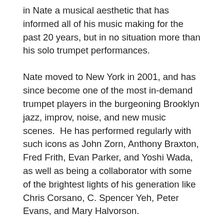in Nate a musical aesthetic that has informed all of his music making for the past 20 years, but in no situation more than his solo trumpet performances.
Nate moved to New York in 2001, and has since become one of the most in-demand trumpet players in the burgeoning Brooklyn jazz, improv, noise, and new music scenes.  He has performed regularly with such icons as John Zorn, Anthony Braxton, Fred Frith, Evan Parker, and Yoshi Wada, as well as being a collaborator with some of the brightest lights of his generation like Chris Corsano, C. Spencer Yeh, Peter Evans, and Mary Halvorson.
Wooley's solo playing has often been cited as being a part of an international revolution in improvised trumpet.  Along with Peter Evans and Greg Kelley, Wooley is considered one of the leading lights of the American movement to redefine the physical boundaries of the horn, as well as demolishing the way trumpet is perceived in a historical context still overshadowed by Louis Armstrong.  A combination of vocalization, extreme extended technique, noise and drone aesthetics, amplification and feedback, and compositional rigor has led one reviewer to call his